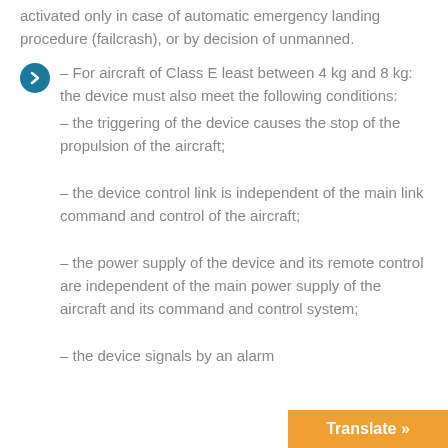activated only in case of automatic emergency landing procedure (failcrash), or by decision of unmanned.
– For aircraft of Class E least between 4 kg and 8 kg: the device must also meet the following conditions: – the triggering of the device causes the stop of the propulsion of the aircraft; – the device control link is independent of the main link command and control of the aircraft; – the power supply of the device and its remote control are independent of the main power supply of the aircraft and its command and control system; – the device signals by an alarm
Translate »